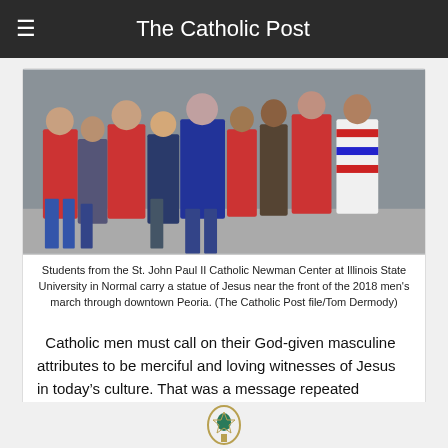The Catholic Post
[Figure (photo): Students from the St. John Paul II Catholic Newman Center at Illinois State University in Normal carrying a statue of Jesus at the 2018 men's march through downtown Peoria.]
Students from the St. John Paul II Catholic Newman Center at Illinois State University in Normal carry a statue of Jesus near the front of the 2018 men's march through downtown Peoria. (The Catholic Post file/Tom Dermody)
Catholic men must call on their God-given masculine attributes to be merciful and loving witnesses of Jesus in today's culture. That was a message repeated throughout the morning April 23 when nearly 500 men from across the Diocese of Peoria took part in the 13th annual “A Call to Catholic Men of Faith.” “So […]
[Figure (logo): Logo or emblem at the bottom of the page]